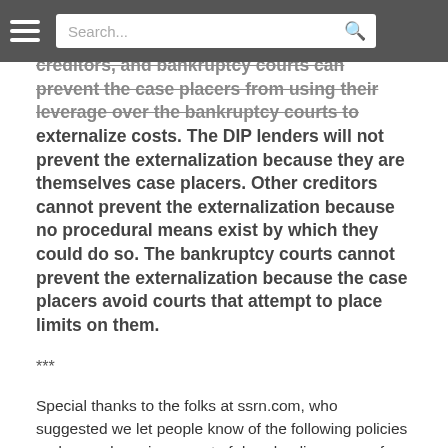Search...
creditors, and bankruptcy courts can prevent the case placers from using their leverage over the bankruptcy courts to externalize costs. The DIP lenders will not prevent the externalization because they are themselves case placers. Other creditors cannot prevent the externalization because no procedural means exist by which they could do so. The bankruptcy courts cannot prevent the externalization because the case placers avoid courts that attempt to place limits on them.
***
Special thanks to the folks at ssrn.com, who suggested we let people know of the following policies and procedures in respect of downloading papers from